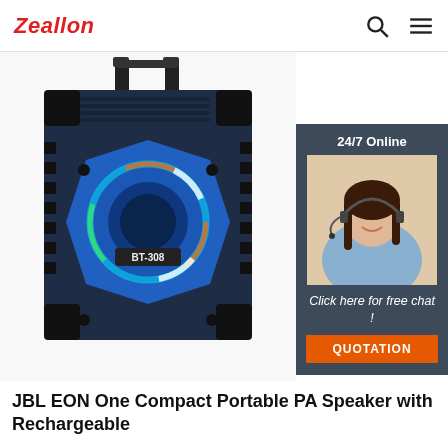Zeallon
[Figure (photo): Zeallon BT-308 portable Bluetooth speaker with blue LED ring light and carry handle, black body]
[Figure (photo): 24/7 Online chat overlay with female customer service agent wearing headset, and orange QUOTATION button]
JBL EON One Compact Portable PA Speaker with Rechargeable